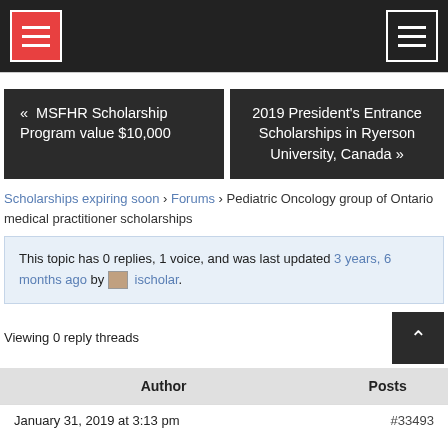[Figure (other): Top navigation bar with red hamburger menu icon on left and dark hamburger menu icon on right, dark background]
« MSFHR Scholarship Program value $10,000
2019 President's Entrance Scholarships in Ryerson University, Canada »
Scholarships expiring soon › Forums › Pediatric Oncology group of Ontario medical practitioner scholarships
This topic has 0 replies, 1 voice, and was last updated 3 years, 6 months ago by ischolar.
Viewing 0 reply threads
| Author | Posts |
| --- | --- |
| January 31, 2019 at 3:13 pm | #33493 |
#33493